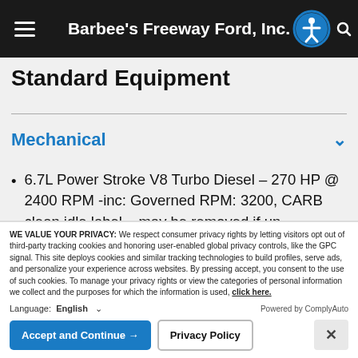Barbee's Freeway Ford, Inc.
Standard Equipment
Mechanical
6.7L Power Stroke V8 Turbo Diesel – 270 HP @ 2400 RPM -inc: Governed RPM: 3200, CARB clean idle label – may be removed if un-
WE VALUE YOUR PRIVACY: We respect consumer privacy rights by letting visitors opt out of third-party tracking cookies and honoring user-enabled global privacy controls, like the GPC signal. This site deploys cookies and similar tracking technologies to build profiles, serve ads, and personalize your experience across websites. By pressing accept, you consent to the use of such cookies. To manage your privacy rights or view the categories of personal information we collect and the purposes for which the information is used, click here.
Language: English   Powered by ComplyAuto
Accept and Continue →   Privacy Policy   ×